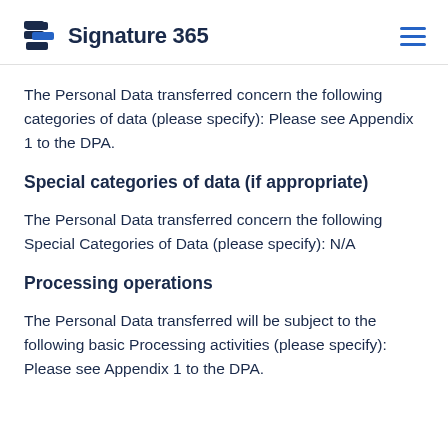Signature 365
The Personal Data transferred concern the following categories of data (please specify): Please see Appendix 1 to the DPA.
Special categories of data (if appropriate)
The Personal Data transferred concern the following Special Categories of Data (please specify): N/A
Processing operations
The Personal Data transferred will be subject to the following basic Processing activities (please specify): Please see Appendix 1 to the DPA.